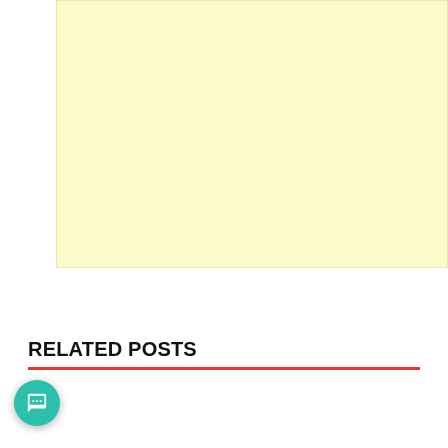[Figure (other): Light yellow advertisement banner placeholder]
TAGGED  FRANCIS NGANNOU  UFC
RELATED POSTS
[Figure (photo): Dark action sports photo, partially visible at bottom of page]